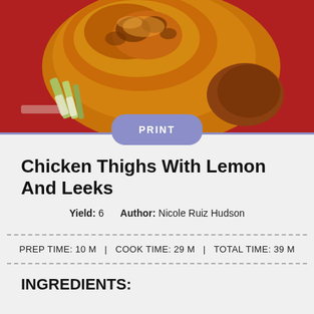[Figure (photo): Golden roasted chicken thigh on a red plate with cooked leeks/vegetables underneath]
Chicken Thighs With Lemon And Leeks
Yield: 6    Author: Nicole Ruiz Hudson
PREP TIME: 10 M  |  COOK TIME: 29 M  |  TOTAL TIME: 39 M
INGREDIENTS: